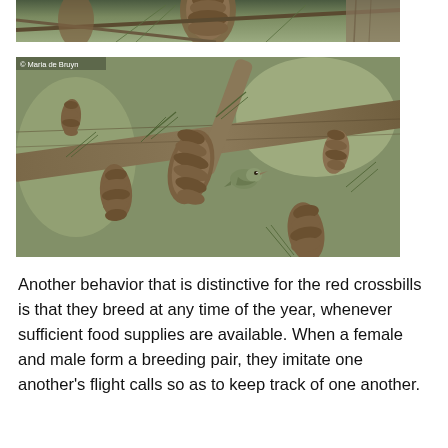[Figure (photo): Partial photo of pine tree with cones, cropped at top of page]
[Figure (photo): Photo of a small bird (red crossbill) perched among pine branches with multiple pine cones, credited to Maria de Bruyn]
Another behavior that is distinctive for the red crossbills is that they breed at any time of the year, whenever sufficient food supplies are available. When a female and male form a breeding pair, they imitate one another’s flight calls so as to keep track of one another.